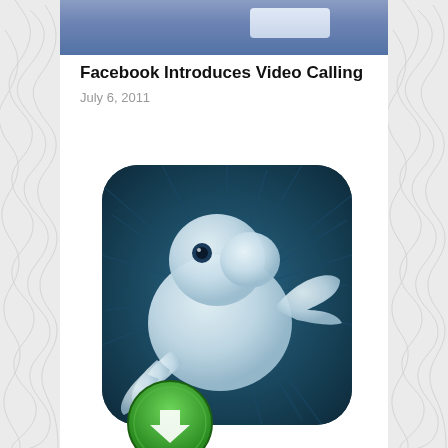[Figure (screenshot): Top portion of a Facebook-style blue navigation bar, partially visible at the top of the page]
Facebook Introduces Video Calling
July 6, 2011
[Figure (illustration): Twitter bird logo icon with a dark blue radial sunburst background and rounded corners, with a green download button partially visible at the bottom left]